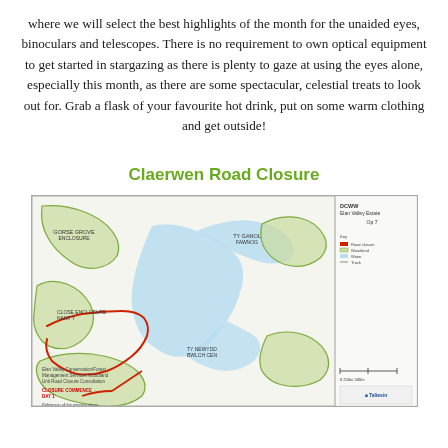where we will select the best highlights of the month for the unaided eyes, binoculars and telescopes. There is no requirement to own optical equipment to get started in stargazing as there is plenty to gaze at using the eyes alone, especially this month, as there are some spectacular, celestial treats to look out for. Grab a flask of your favourite hot drink, put on some warm clothing and get outside!
Claerwen Road Closure
[Figure (map): A topographic/road map showing the Claerwen area (Elan Valley Estate), featuring a reservoir (blue water body), green land areas with red road markings indicating a road closure, and a legend panel on the right side. The map includes place labels and scale bar.]